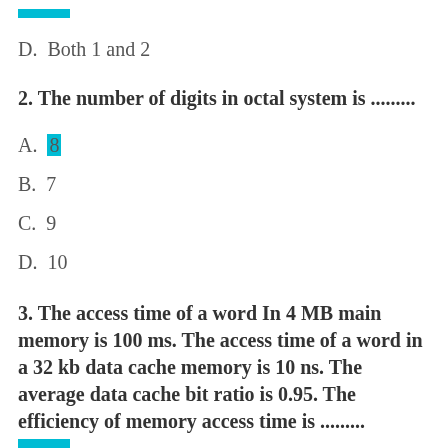D.  Both 1 and 2
2. The number of digits in octal system is .........
A.  8
B.  7
C.  9
D.  10
3. The access time of a word In 4 MB main memory is 100 ms. The access time of a word in a 32 kb data cache memory is 10 ns. The average data cache bit ratio is 0.95. The efficiency of memory access time is .........
A.  9.5 ns